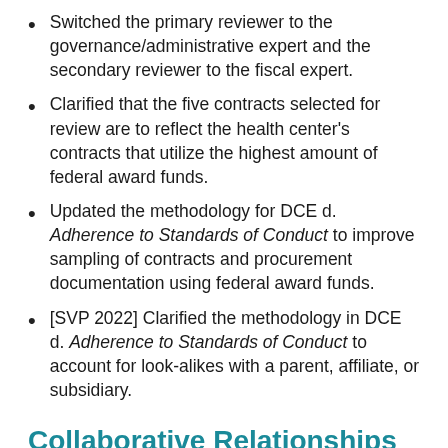Switched the primary reviewer to the governance/administrative expert and the secondary reviewer to the fiscal expert.
Clarified that the five contracts selected for review are to reflect the health center's contracts that utilize the highest amount of federal award funds.
Updated the methodology for DCE d. Adherence to Standards of Conduct to improve sampling of contracts and procurement documentation using federal award funds.
[SVP 2022] Clarified the methodology in DCE d. Adherence to Standards of Conduct to account for look-alikes with a parent, affiliate, or subsidiary.
Collaborative Relationships